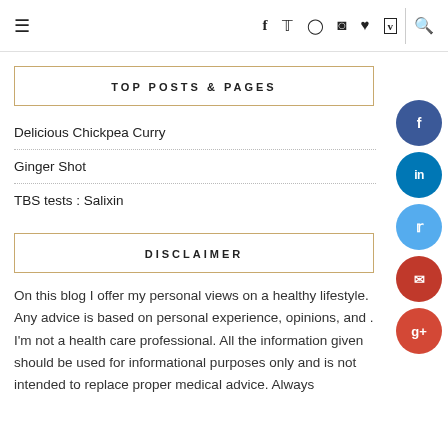≡  f  𝕏  ⊙  ⊛  ♥  𝕍  | 🔍
TOP POSTS & PAGES
Delicious Chickpea Curry
Ginger Shot
TBS tests : Salixin
DISCLAIMER
On this blog I offer my personal views on a healthy lifestyle. Any advice is based on personal experience, opinions, and . I'm not a health care professional. All the information given should be used for informational purposes only and is not intended to replace proper medical advice. Always